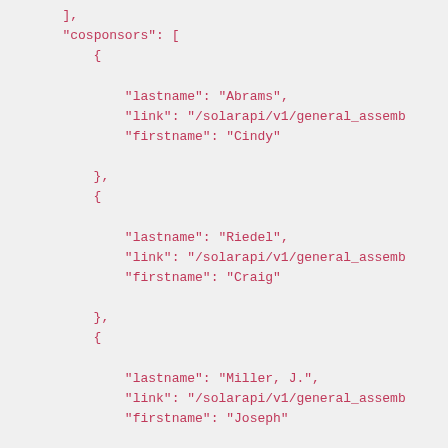],
"cosponsors": [
    {
        "lastname": "Abrams",
        "link": "/solarapi/v1/general_assembl
        "firstname": "Cindy"
    },
    {
        "lastname": "Riedel",
        "link": "/solarapi/v1/general_assembl
        "firstname": "Craig"
    },
    {
        "lastname": "Miller, J.",
        "link": "/solarapi/v1/general_assembl
        "firstname": "Joseph"
    },
    {
        "lastname": "Seitz",
        "link": "/solarapi/v1/general_assembl
        "firstname": "Bill"
    },
    {